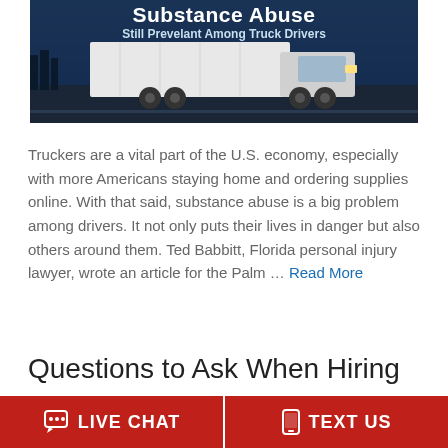[Figure (photo): Hero image showing a white semi-truck on a highway with a dark blue overlay. Text overlay reads 'Substance Abuse / Still Prevelant Among Truck Drivers']
Truckers are a vital part of the U.S. economy, especially with more Americans staying home and ordering supplies online. With that said, substance abuse is a big problem among drivers. It not only puts their lives in danger but also others around them. Ted Babbitt, Florida personal injury lawyer, wrote an article for the Palm ... Read More
Questions to Ask When Hiring a
LIVE CHAT   TEXT US